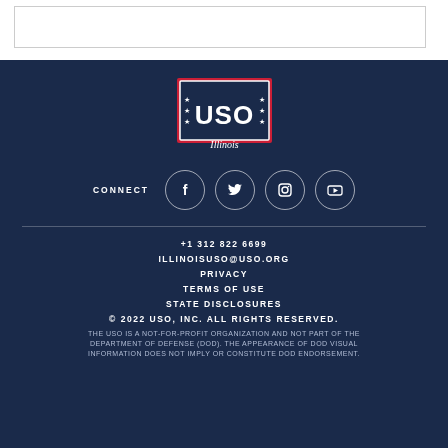[Figure (logo): USO Illinois logo — red-bordered rectangle with stars and USO text, 'Illinois' below in italic]
CONNECT
[Figure (infographic): Social media icons: Facebook, Twitter, Instagram, YouTube in circular outlines]
+1 312 822 6699
ILLINOISUSO@USO.ORG
PRIVACY
TERMS OF USE
STATE DISCLOSURES
© 2022 USO, INC. ALL RIGHTS RESERVED.
THE USO IS A NOT-FOR-PROFIT ORGANIZATION AND NOT PART OF THE DEPARTMENT OF DEFENSE (DOD). THE APPEARANCE OF DOD VISUAL INFORMATION DOES NOT IMPLY OR CONSTITUTE DOD ENDORSEMENT.